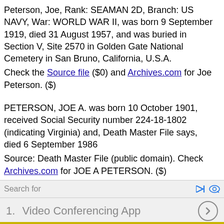Peterson, Joe, Rank: SEAMAN 2D, Branch: US NAVY, War: WORLD WAR II, was born 9 September 1919, died 31 August 1957, and was buried in Section V, Site 2570 in Golden Gate National Cemetery in San Bruno, California, U.S.A. Check the Source file ($0) and Archives.com for Joe Peterson. ($)
PETERSON, JOE A. was born 10 October 1901, received Social Security number 224-18-1802 (indicating Virginia) and, Death Master File says, died 6 September 1986 Source: Death Master File (public domain). Check Archives.com for JOE A PETERSON. ($)
PETERSON, JOE B who was 22 (born ABT 1958)
Search for
1.  Video Conferencing App